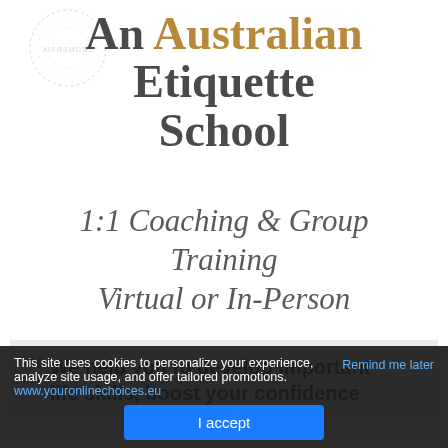[Figure (logo): Circular dotted watermark logo with text AIERSMONT in background]
An Australian Etiquette School
1:1 Coaching & Group Training
Virtual or In-Person
“ We help you to develop important life skills, boost your confidence
This site uses cookies to personalize your experience, analyze site usage, and offer tailored promotions. www.youronlinechoices.eu    Remind me later   I accept